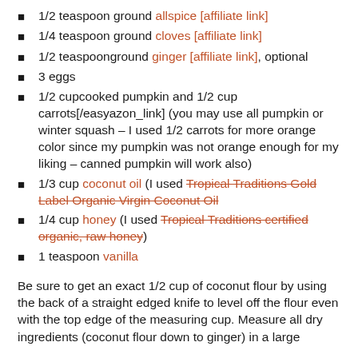1/2 teaspoon ground allspice [affiliate link]
1/4 teaspoon ground cloves [affiliate link]
1/2 teaspoonground ginger [affiliate link], optional
3 eggs
1/2 cupcooked pumpkin and 1/2 cup carrots[/easyazon_link] (you may use all pumpkin or winter squash – I used 1/2 carrots for more orange color since my pumpkin was not orange enough for my liking – canned pumpkin will work also)
1/3 cup coconut oil (I used Tropical Traditions Gold Label Organic Virgin Coconut Oil
1/4 cup honey (I used Tropical Traditions certified organic, raw honey)
1 teaspoon vanilla
Be sure to get an exact 1/2 cup of coconut flour by using the back of a straight edged knife to level off the flour even with the top edge of the measuring cup. Measure all dry ingredients (coconut flour down to ginger) in a large